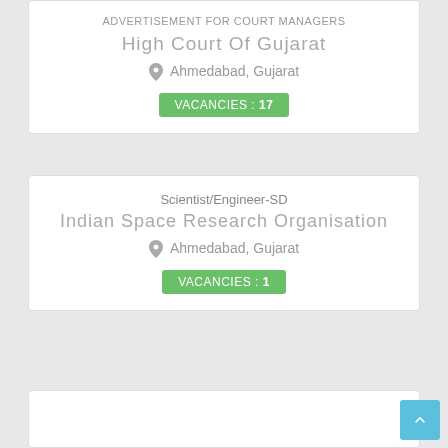ADVERTISEMENT FOR COURT MANAGERS
High Court Of Gujarat
Ahmedabad, Gujarat
VACANCIES : 17
[Figure (illustration): Notification image thumbnail]
Scientist/Engineer-SD
Indian Space Research Organisation
Ahmedabad, Gujarat
VACANCIES : 1
[Figure (illustration): Notification image thumbnail]